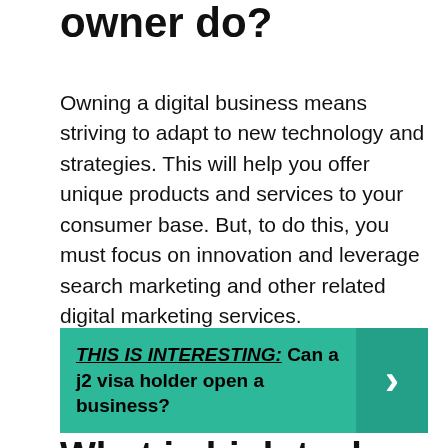owner do?
Owning a digital business means striving to adapt to new technology and strategies. This will help you offer unique products and services to your consumer base. But, to do this, you must focus on innovation and leverage search marketing and other related digital marketing services.
THIS IS INTERESTING:  Can a j2 visa holder open a business?
What is high tech startup?
High-tech startup means a business unit that has been in operation for less than five